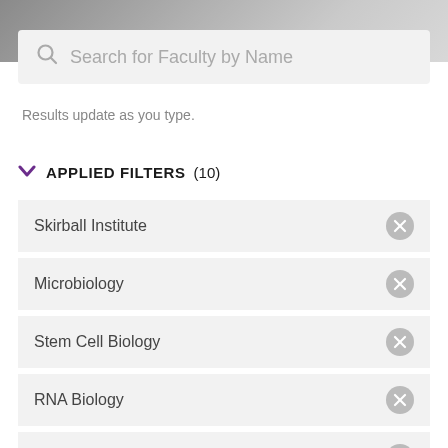[Figure (screenshot): Top banner image showing a blurred outdoor/campus background]
Search for Faculty by Name
Results update as you type.
APPLIED FILTERS (10)
Skirball Institute
Microbiology
Stem Cell Biology
RNA Biology
Rodent